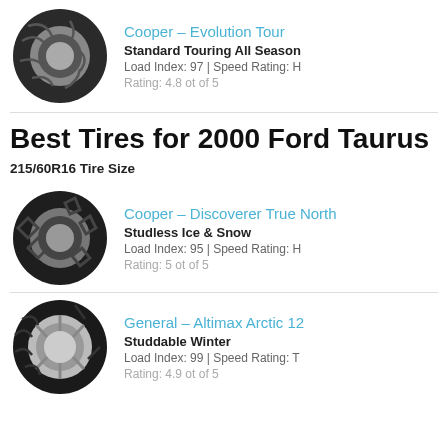[Figure (photo): Cooper Evolution Tour tire image]
Cooper – Evolution Tour
Standard Touring All Season
Load Index: 97 | Speed Rating: H
Rating: 4.8 ot of 5
Best Tires for 2000 Ford Taurus
215/60R16 Tire Size
[Figure (photo): Cooper Discoverer True North tire image]
Cooper – Discoverer True North
Studless Ice & Snow
Load Index: 95 | Speed Rating: H
Rating: 5 ot of 5
[Figure (photo): General Altimax Arctic 12 tire image]
General – Altimax Arctic 12
Studdable Winter
Load Index: 99 | Speed Rating: T
Rating: 4.9 ot of 5